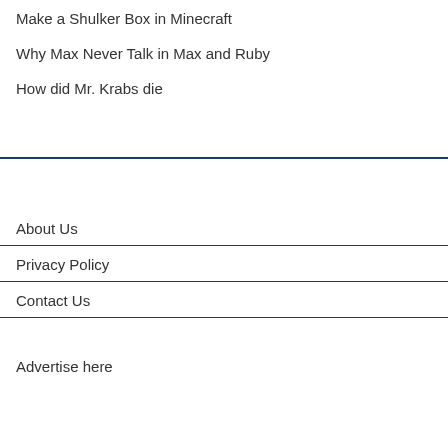Make a Shulker Box in Minecraft
Why Max Never Talk in Max and Ruby
How did Mr. Krabs die
About Us
Privacy Policy
Contact Us
Advertise here